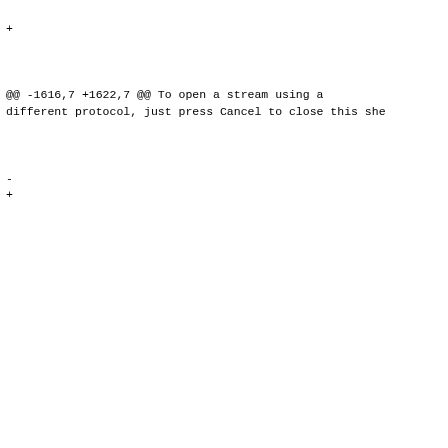<rect key="frame" x="353" y="213" width="54" height="17"/>
+                           <rect key="frame" x="353"
y="213" width="54" height="16"/>
                        <textFieldCell key="cell"
lineBreakMode="truncatingTail"
sendsActionOnEndEditing="YES" alignment="right"
title="Address" usesSingleLineMode="YES" id="2989">
                            <font key="font"
metaFont="system"/>
                            <color key="textColor"
name="tertiaryLabelColor" catalog="System"
colorSpace="catalog"/>
@@ -1616,7 +1622,7 @@ To open a stream using a different protocol, just press Cancel to close this she
                        </connections>
                    </button>
                    <textField
verticalHuggingPriority="750"
horizontalCompressionResistancePriority="250"
translatesAutoresizingMaskIntoConstraints="NO"
id="3084">
-                           <rect key="frame" x="114" y="172"
width="68" height="17"/>
+                           <rect key="frame" x="114" y="173"
width="68" height="16"/>
                        <textFieldCell key="cell"
lineBreakMode="truncatingTail"
sendsActionOnEndEditing="YES" alignment="center"
title="Audio CD" usesSingleLineMode="YES" id="3085">
                            <font key="font"